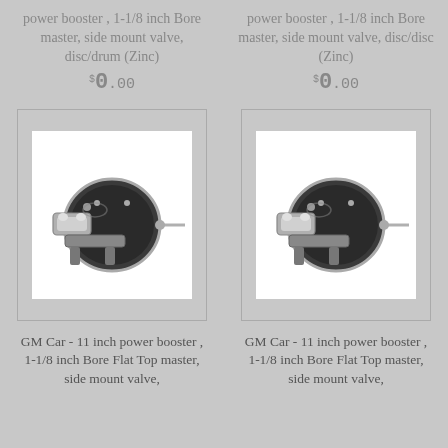power booster , 1-1/8 inch Bore master, side mount valve, disc/drum (Zinc)
$0.00
power booster , 1-1/8 inch Bore master, side mount valve, disc/disc (Zinc)
$0.00
[Figure (photo): Chrome brake power booster assembly with master cylinder, side view]
[Figure (photo): Chrome brake power booster assembly with master cylinder, side view]
GM Car - 11 inch power booster , 1-1/8 inch Bore Flat Top master, side mount valve,
GM Car - 11 inch power booster , 1-1/8 inch Bore Flat Top master, side mount valve,